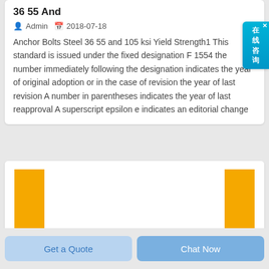36 55 And
Admin   2018-07-18
Anchor Bolts Steel 36 55 and 105 ksi Yield Strength1 This standard is issued under the fixed designation F 1554 the number immediately following the designation indicates the year of original adoption or in the case of revision the year of last revision A number in parentheses indicates the year of last reapproval A superscript epsilon e indicates an editorial change
[Figure (bar-chart): Two tall yellow/orange vertical bars visible at left and right edges of a white card, representing a partially visible bar chart.]
Get a Quote
Chat Now